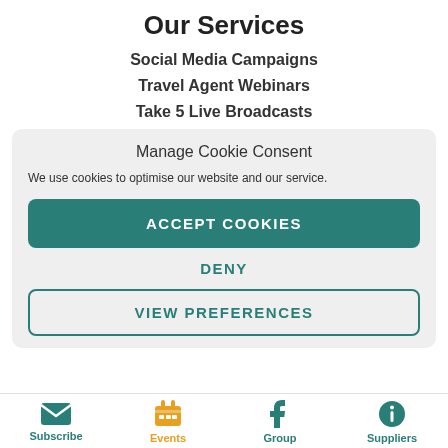Our Services
Social Media Campaigns
Travel Agent Webinars
Take 5 Live Broadcasts
Manage Cookie Consent
We use cookies to optimise our website and our service.
ACCEPT COOKIES
DENY
VIEW PREFERENCES
Subscribe | Events | Group | Suppliers